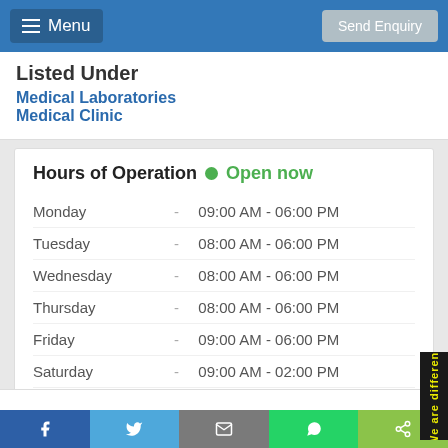Menu | Send Enquiry
Listed Under
Medical Laboratories
Medical Clinic
| Day |  | Hours |
| --- | --- | --- |
| Monday | - | 09:00 AM - 06:00 PM |
| Tuesday | - | 08:00 AM - 06:00 PM |
| Wednesday | - | 08:00 AM - 06:00 PM |
| Thursday | - | 08:00 AM - 06:00 PM |
| Friday | - | 09:00 AM - 06:00 PM |
| Saturday | - | 09:00 AM - 02:00 PM |
| Sunday | - | Closed |